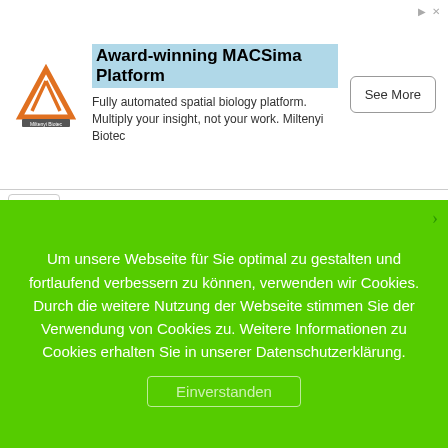[Figure (other): Advertisement banner for MACSima Platform by Miltenyi Biotec. Shows logo, headline 'Award-winning MACSima Platform', body text 'Fully automated spatial biology platform. Multiply your insight, not your work. Miltenyi Biotec', and a 'See More' button.]
nercial websites and online services to post a privacy policy. The law's reach stretches well beyond California to require any person or company in the United States (and conceivably the world) that operates websites collecting Personally Identifiable Information from California consumers to post a conspicuous privacy policy on its website stating exactly the information being collected and those individuals or companies with whom it is being shared
Um unsere Webseite für Sie optimal zu gestalten und fortlaufend verbessern zu können, verwenden wir Cookies. Durch die weitere Nutzung der Webseite stimmen Sie der Verwendung von Cookies zu. Weitere Informationen zu Cookies erhalten Sie in unserer Datenschutzerklärung.
Einverstanden